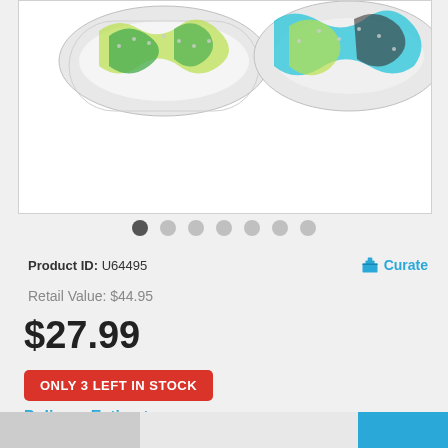[Figure (photo): Two decorative beaded bracelets with green, teal, and black patterns on a white background]
Product ID: U64495
Curate
Retail Value: $44.95
$27.99
ONLY 3 LEFT IN STOCK
Delivery Estimate